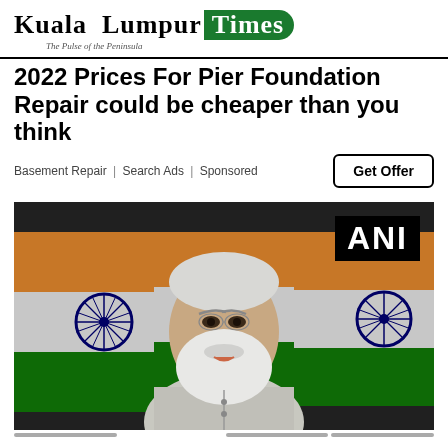Kuala Lumpur Times — The Pulse of the Peninsula
2022 Prices For Pier Foundation Repair could be cheaper than you think
Basement Repair | Search Ads | Sponsored
Get Offer
[Figure (photo): A man with white hair and beard wearing a light grey traditional Indian kurta, speaking in front of multiple Indian national flags with Ashoka Chakra wheels visible. ANI watermark in top right corner.]